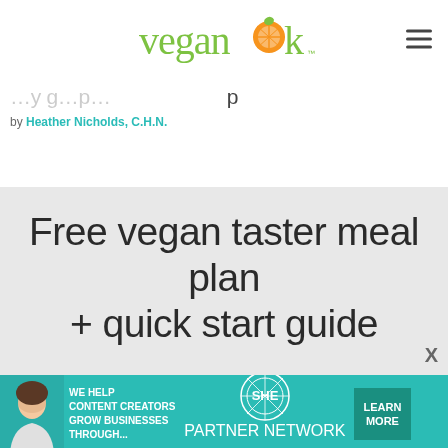veganok
Free vegan taster meal plan + quick start guide
by Heather Nicholds, C.H.N.
[Figure (infographic): Modal popup overlay showing 'Free vegan taster meal plan + quick start guide' text on light grey background with close X button]
[Figure (infographic): SHE Partner Network advertisement banner with photo of woman, text 'We help content creators grow businesses through...' and 'Learn More' button]